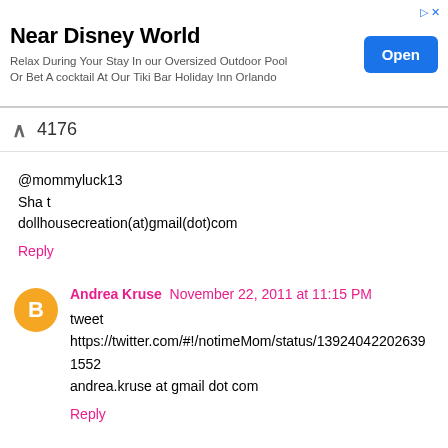[Figure (other): Advertisement banner for Holiday Inn near Disney World with an 'Open' button]
4176
@mommyluck13
Sha t
dollhousecreation(at)gmail(dot)com
Reply
Andrea Kruse  November 22, 2011 at 11:15 PM
tweet
https://twitter.com/#!/notimeMom/status/139240422026391552
andrea.kruse at gmail dot com
Reply